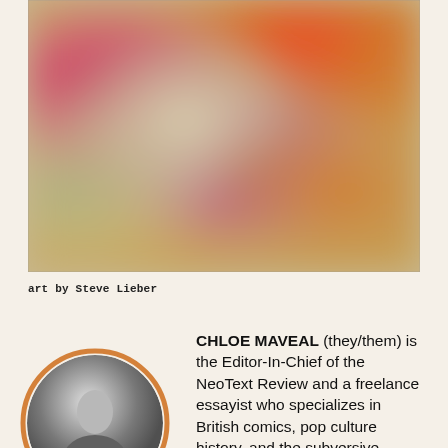[Figure (illustration): Abstract blurred artwork with warm tones — reds, oranges, yellows, and muted greens blending together in a soft, painterly style.]
art by Steve Lieber
[Figure (photo): Circular portrait photo of Chloe Maveal, black and white, framed with an orange circular border.]
CHLOE MAVEAL (they/them) is the Editor-In-Chief of the NeoText Review and a freelance essayist who specializes in British comics, pop culture history, and the subversive qualities of "trashy" media. Their work has been featured